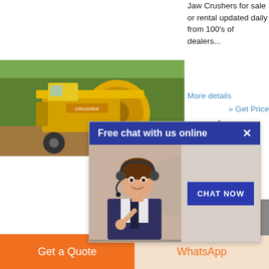Jaw Crushers for sale or rental updated daily from 100's of dealers...
More details
» Get Price
Crushers For Sale -
[Figure (photo): Yellow industrial crusher/mining machine outdoors]
[Figure (screenshot): Free chat with us online popup with agent photo and CHAT NOW button]
We shers ingle Crusher, 42 x 26 Jaw, Diesel Engine, Excellent Running ... 2010 Bavtrak Mini Crusher
Get a Quote
WhatsApp